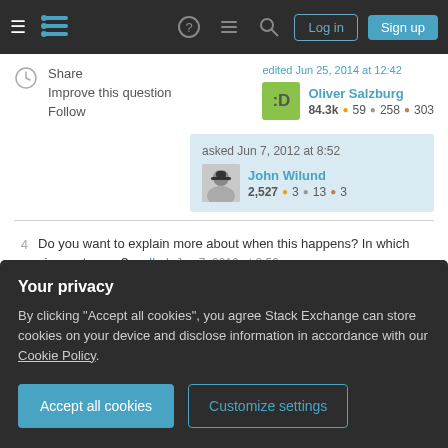Stack Exchange navigation bar with Log in and Sign up buttons
Share | Improve this question | Follow
edited Jun 25, 2014 at 12:42 - Oliver Salzburg - 84.3k • 59 • 258 • 303
asked Jun 7, 2012 at 8:52 - John Wilund - 2,527 • 3 • 13 • 3
4  Do you want to explain more about when this happens? In which circumstances? – slhck Jun 7, 2012 at 8:56
Your privacy
By clicking "Accept all cookies", you agree Stack Exchange can store cookies on your device and disclose information in accordance with our Cookie Policy.